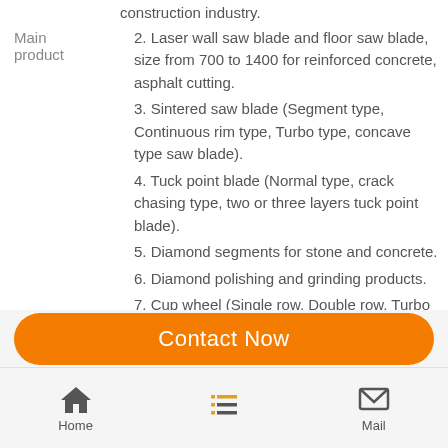construction industry.
2. Laser wall saw blade and floor saw blade, size from 700 to 1400 for reinforced concrete, asphalt cutting.
3. Sintered saw blade (Segment type, Continuous rim type, Turbo type, concave type saw blade).
4. Tuck point blade (Normal type, crack chasing type, two or three layers tuck point blade).
5. Diamond segments for stone and concrete.
6. Diamond polishing and grinding products.
7. Cup wheel (Single row, Double row, Turbo type.)
8. Diamond core bits.
9. Electroplated diamond products.
Tel  +86-512-62521716
Fax  +86-512-62524564
Other Products
Contact Now